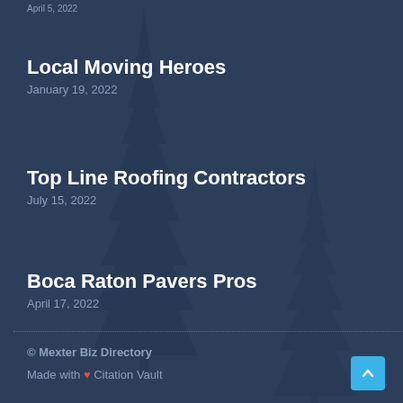April 5, 2022
Local Moving Heroes
January 19, 2022
Top Line Roofing Contractors
July 15, 2022
Boca Raton Pavers Pros
April 17, 2022
© Mexter Biz Directory
Made with ♥ Citation Vault